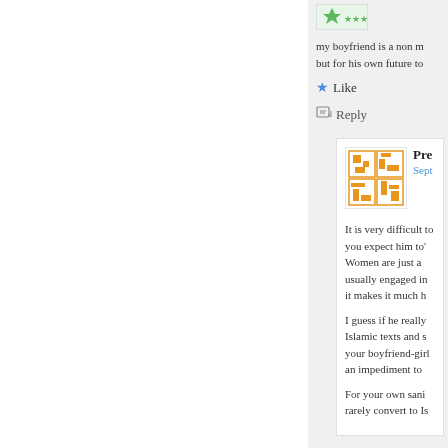[Figure (logo): Green star avatar icon]
my boyfriend is a non m... but for his own future to...
Like
Reply
[Figure (illustration): Orange geometric puzzle-piece avatar for user 'Pre...']
Pre...
Sept...
It is very difficult to... you expect him to'... Women are just a... usually engaged in... it makes it much h...
I guess if he really... Islamic texts and s... your boyfriend-girl... an impediment to...
For your own sani... rarely convert to Is...